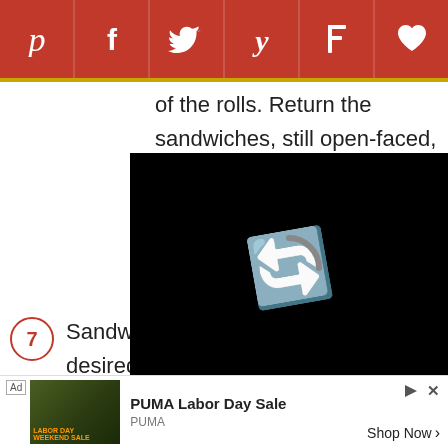[Figure (other): Social media sharing toolbar with Pinterest, Facebook, Twitter, Yummly, Flipboard, and heart/save icons on red background]
of the rolls. Return the sandwiches, still open-faced, to the oven for 5 minutes, or until the cheese is melted and the pastrami is warm to the touch.
7. Sandwich the halves together and, if desired, cut on the diag... can take it from... February 17, 2...
[Figure (screenshot): Video player overlay showing loading spinner (C icon), progress bar, and controls showing 06:30 timestamp with mute, share, settings, and fullscreen icons]
[Figure (other): Red print/save button bar partially visible]
[Figure (photo): Partial thumbnail image strip]
[Figure (other): Advertisement for PUMA Labor Day Sale with ad thumbnail, PUMA branding and Shop Now button]